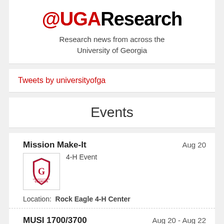@UGAResearch
Research news from across the University of Georgia
Tweets by universityofga
Events
Mission Make-It    Aug 20
4-H Event
Location:  Rock Eagle 4-H Center
MUSI 1700/3700    Aug 20 - Aug 22
Non-Major Music Lessons Fall Registration